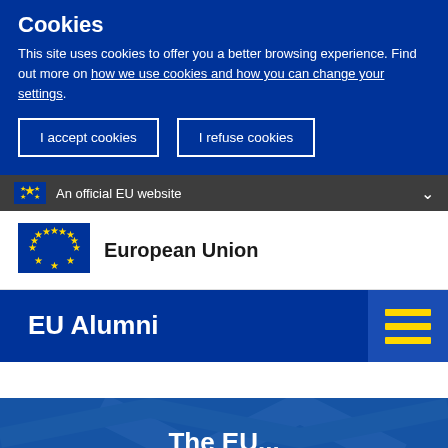Cookies
This site uses cookies to offer you a better browsing experience. Find out more on how we use cookies and how you can change your settings.
I accept cookies
I refuse cookies
An official EU website
[Figure (logo): European Union flag logo with stars on blue background]
European Union
EU Alumni
[Figure (illustration): Hamburger menu icon with three yellow horizontal bars on dark blue background]
The EU...